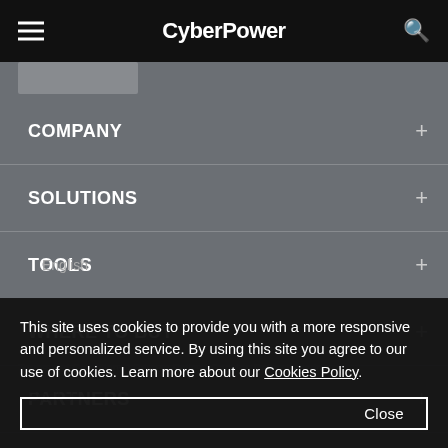CyberPower
COMPANY
SOLUTIONS
TOOLS
WHERE TO BUY
PARTNERS
English
Terms and Conditions | Privacy Policy | Cookies Policy | Imprint
Email Us
This site uses cookies to provide you with a more responsive and personalized service. By using this site you agree to our use of cookies. Learn more about our Cookies Policy.
Close